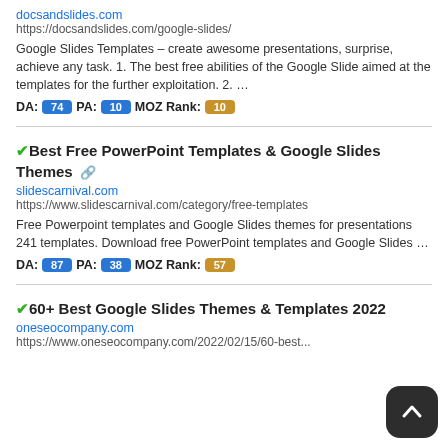docsandslides.com
https://docsandslides.com/google-slides/
Google Slides Templates – create awesome presentations, surprise, achieve any task. 1. The best free abilities of the Google Slide aimed at the templates for the further exploitation. 2. …
DA: 74 PA: 10 MOZ Rank: 10
✅Best Free PowerPoint Templates & Google Slides Themes 🔗
slidescarnival.com
https://www.slidescarnival.com/category/free-templates
Free Powerpoint templates and Google Slides themes for presentations 241 templates. Download free PowerPoint templates and Google Slides …
DA: 87 PA: 38 MOZ Rank: 57
✅60+ Best Google Slides Themes & Templates 2022
oneseocompany.com
https://www.oneseocompany.com/2022/02/15/60-best...